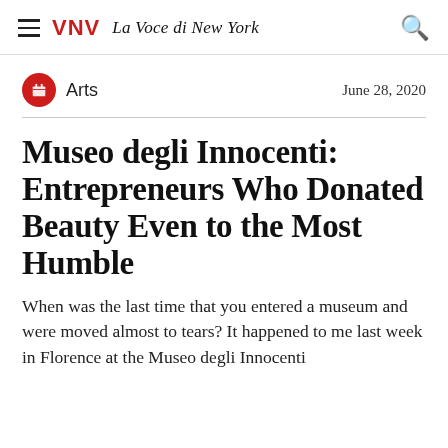VNV La Voce di New York
Arts   June 28, 2020
Museo degli Innocenti: Entrepreneurs Who Donated Beauty Even to the Most Humble
When was the last time that you entered a museum and were moved almost to tears? It happened to me last week in Florence at the Museo degli Innocenti